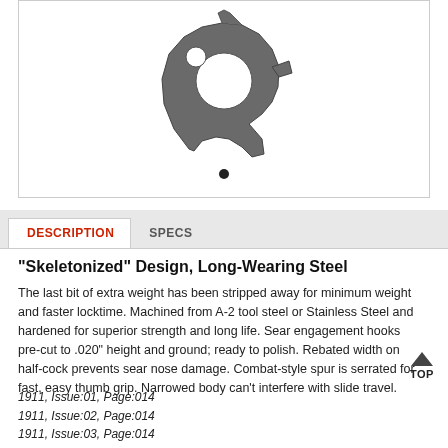[Figure (photo): Skeletonized steel hammer/sear part for 1911 pistol, shown against white background with a dot indicator below]
"Skeletonized" Design, Long-Wearing Steel
The last bit of extra weight has been stripped away for minimum weight and faster locktime. Machined from A-2 tool steel or Stainless Steel and hardened for superior strength and long life. Sear engagement hooks pre-cut to .020" height and ground; ready to polish. Rebated width on half-cock prevents sear nose damage. Combat-style spur is serrated for fast, easy thumb grip. Narrowed body can't interfere with slide travel.
1911, Issue:01, Page:014
1911, Issue:02, Page:014
1911, Issue:03, Page:014